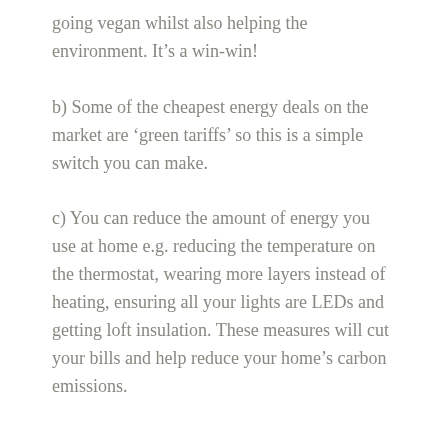going vegan whilst also helping the environment. It's a win-win!
b) Some of the cheapest energy deals on the market are 'green tariffs' so this is a simple switch you can make.
c) You can reduce the amount of energy you use at home e.g. reducing the temperature on the thermostat, wearing more layers instead of heating, ensuring all your lights are LEDs and getting loft insulation. These measures will cut your bills and help reduce your home's carbon emissions.